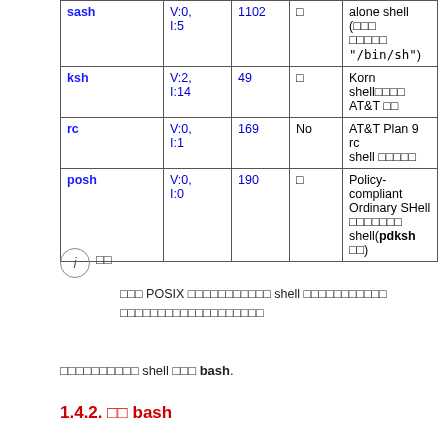|  |  |  |  |  |
| --- | --- | --- | --- | --- |
| sash | V:0, I:5 | 1102 | □ | alone shell (□□□ □□□□□ "/bin/sh") |
| ksh | V:2, I:14 | 49 | □ | Korn shell□□□□ AT&T □□ |
| rc | V:0, I:1 | 169 | No | AT&T Plan 9 rc shell □□□□□ |
| posh | V:0, I:0 | 190 | □ | Policy-compliant Ordinary SHell □□□□□□□ shell(pdksh □□) |
□□
□□□ POSIX □□□□□□□□□□□ shell □□□□□□□□□□□ □□□□□□□□□□□□□□□□□□□
□□□□□□□□□□ shell □□□ bash.
1.4.2. □□ bash